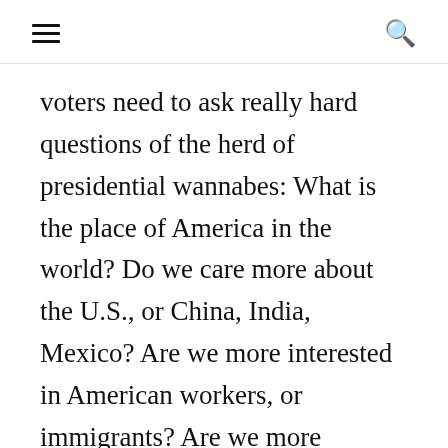≡  🔍
voters need to ask really hard questions of the herd of presidential wannabes: What is the place of America in the world? Do we care more about the U.S., or China, India, Mexico? Are we more interested in American workers, or immigrants? Are we more concerned about cheap imports, or employed Americans that can afford imports? Can we survive as